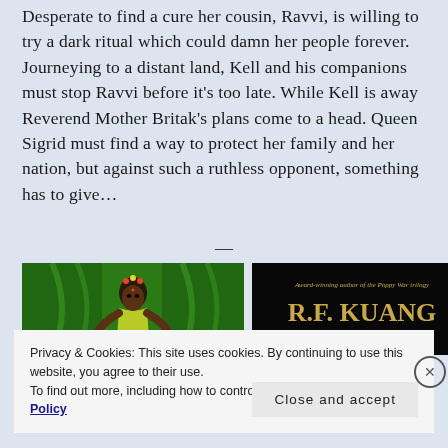Desperate to find a cure her cousin, Ravvi, is willing to try a dark ritual which could damn her people forever. Journeying to a distant land, Kell and his companions must stop Ravvi before it's too late. While Kell is away Reverend Mother Britak's plans come to a head. Queen Sigrid must find a way to protect her family and her nation, but against such a ruthless opponent, something has to give…
[Figure (photo): Green-themed image with a figure of a woman in colorful costume against green curtain backdrop]
[Figure (photo): Black background book cover with golden text reading 'Award-winning author of the Poppy War trilogy' and 'R.F. KUANG']
Privacy & Cookies: This site uses cookies. By continuing to use this website, you agree to their use.
To find out more, including how to control cookies, see here: Cookie Policy
Close and accept